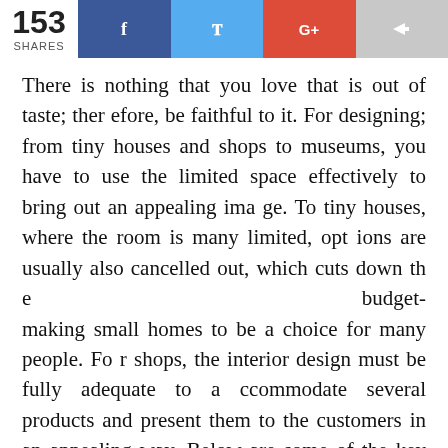[Figure (infographic): Social share bar showing 153 shares with Facebook, Twitter, Google+, and generic share buttons]
There is nothing that you love that is out of taste; therefore, be faithful to it. For designing; from tiny houses and shops to museums, you have to use the limited space effectively to bring out an appealing image. To tiny houses, where the room is many limited, options are usually also cancelled out, which cuts down the budget-making small homes to be a choice for many people. For shops, the interior design must be fully adequate to accommodate several products and present them to the customers in an appealing way. Below are some of the key ideas to consider to ensure your house or shop has a customized, attractive and best interior design.
For tiny houses, here are the things to consider;